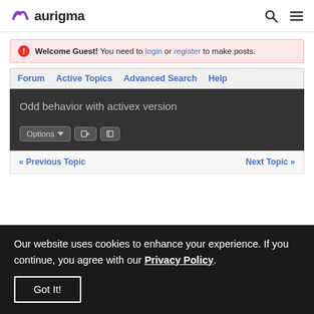aurigma
Welcome Guest! You need to login or register to make posts.
Forum  Active Topics  Advanced Search  Help
Odd behavior with activex version
Options  [navigate icons]
« Previous Topic    Next Topic »
Our website uses cookies to enhance your experience. If you continue, you agree with our Privacy Policy.
Got It!